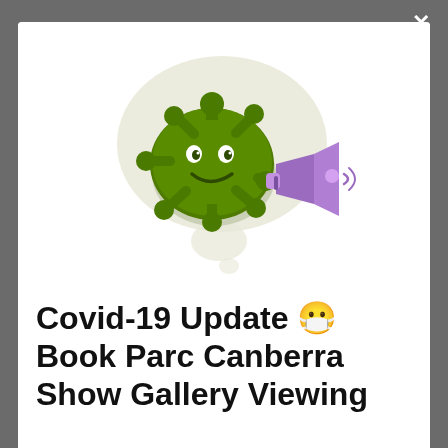[Figure (illustration): Cartoon Covid-19 virus character with a smiley face holding a purple megaphone/loudspeaker, on a light beige/cream blob background shape]
Covid-19 Update 😷 Book Parc Canberra Show Gallery Viewing